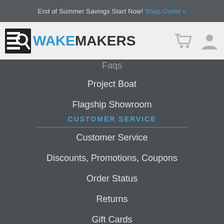End of Summer Savings Start Now! Shop Outlet »
[Figure (logo): WakeMakers logo with magnifying glass icon and shopping cart / user icons]
Project Boat
Flagship Showroom
CUSTOMER SERVICE
Customer Service
Discounts, Promotions, Coupons
Order Status
Returns
Gift Cards